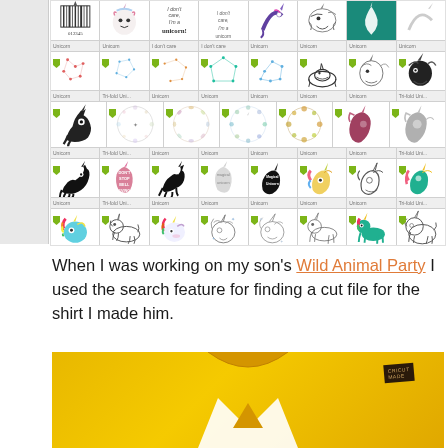[Figure (screenshot): Screenshot of a design software (Cricut Design Space) showing a grid of unicorn-themed SVG cut files. Multiple rows of unicorn clipart images in various styles — black silhouettes, colorful illustrations, wreath designs, and text-based designs. Each cell has a green tag indicator, a thumbnail image, and a small label below.]
When I was working on my son's Wild Animal Party I used the search feature for finding a cut file for the shirt I made him.
[Figure (photo): Close-up photo of a yellow children's t-shirt folded, showing a white animal/star print design on the front and a dark label tag near the collar. The shirt is photographed on a gray background.]